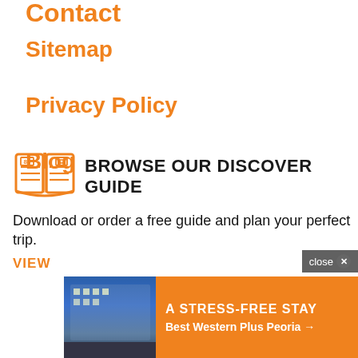Contact
Sitemap
Privacy Policy
Blog
[Figure (illustration): Orange line-art icon of an open book with pages]
BROWSE OUR DISCOVER GUIDE
Download or order a free guide and plan your perfect trip.
VIEW
[Figure (infographic): Advertisement banner: A Stress-Free Stay - Best Western Plus Peoria with hotel photo on left and orange background on right]
close ✕